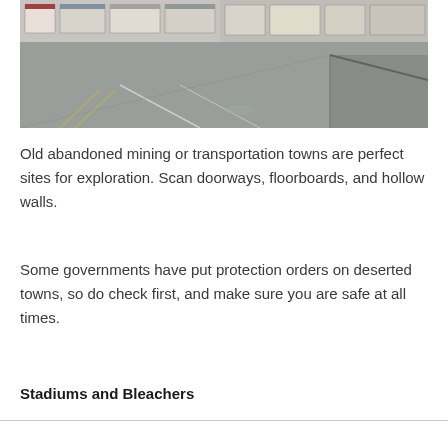[Figure (photo): A deserted street scene showing an empty road with storefronts on the left side and a sidewalk on the right. The street appears wet and abandoned.]
Old abandoned mining or transportation towns are perfect sites for exploration. Scan doorways, floorboards, and hollow walls.
Some governments have put protection orders on deserted towns, so do check first, and make sure you are safe at all times.
Stadiums and Bleachers